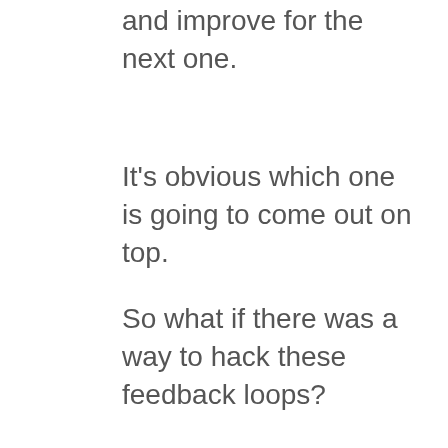and improve for the next one.
It's obvious which one is going to come out on top.
So what if there was a way to hack these feedback loops?
To learn, adapt, and iterate faster than normal.
To achieve in months what takes most people years.